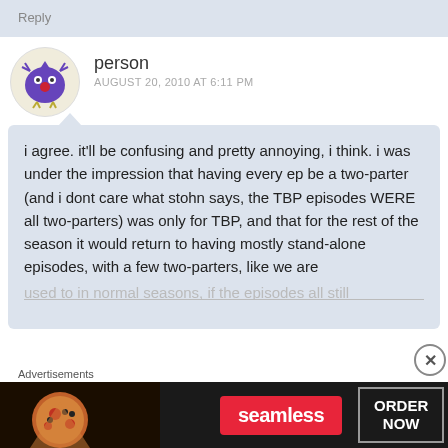Reply
person
AUGUST 20, 2010 AT 6:11 PM
i agree. it'll be confusing and pretty annoying, i think. i was under the impression that having every ep be a two-parter (and i dont care what stohn says, the TBP episodes WERE all two-parters) was only for TBP, and that for the rest of the season it would return to having mostly stand-alone episodes, with a few two-parters, like we are used to in normal seasons, if the episodes all still
Advertisements
[Figure (screenshot): Seamless food delivery advertisement banner with pizza image, red Seamless logo button, and ORDER NOW button on dark background]